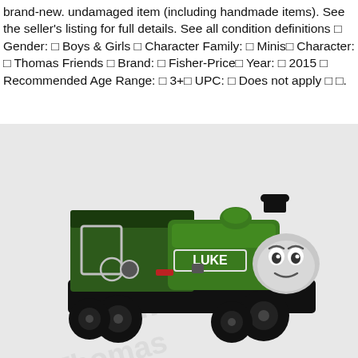brand-new. undamaged item (including handmade items). See the seller's listing for full details. See all condition definitions □ Gender: □ Boys & Girls □ Character Family: □ Minis□ Character: □ Thomas Friends □ Brand: □ Fisher-Price□ Year: □ 2015 □ Recommended Age Range: □ 3+□ UPC: □ Does not apply □ □.
[Figure (photo): Photo of a green Thomas & Friends Minis Luke toy train engine on a black base with black wheels, sitting on a white surface with embossed text in background.]